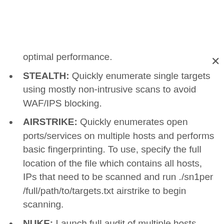optimal performance.
STEALTH: Quickly enumerate single targets using mostly non-intrusive scans to avoid WAF/IPS blocking.
AIRSTRIKE: Quickly enumerates open ports/services on multiple hosts and performs basic fingerprinting. To use, specify the full location of the file which contains all hosts, IPs that need to be scanned and run ./sn1per /full/path/to/targets.txt airstrike to begin scanning.
NUKE: Launch full audit of multiple hosts specified in text file of choice. Usage example: ./sniper /pentest/loot/targets.txt nuke.